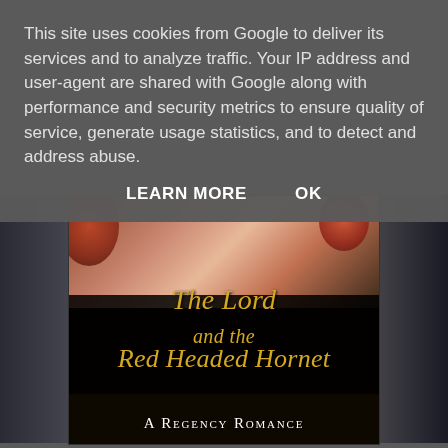This site uses cookies from Google to deliver its services and to analyze traffic. Your IP address and user-agent are shared with Google along with performance and security metrics to ensure quality of service, generate usage statistics, and to detect and address abuse.
LEARN MORE    OK
[Figure (illustration): Book cover for 'The Lord and the Red Headed Hornet: A Regency Romance' showing a woman's neck/shoulder area with flowers, with the title in golden italic script on a dark background.]